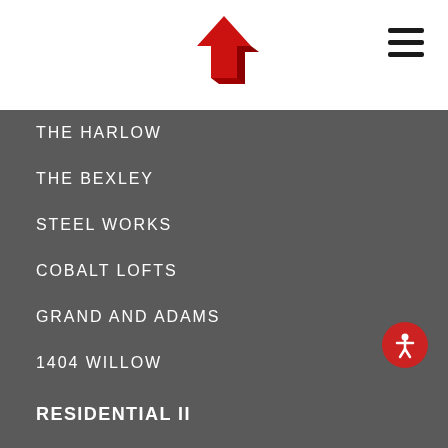[Figure (logo): Red geometric arrow/house logo pointing upward]
THE HARLOW
THE BEXLEY
STEEL WORKS
COBALT LOFTS
GRAND AND ADAMS
1404 WILLOW
RESIDENTIAL II
THE JASPER
CARDINAL CROSSING
INDUSTRIAL
LOGAN NORTH INDUSTRIAL PARK
LINDEN LOGISTICS CENTER